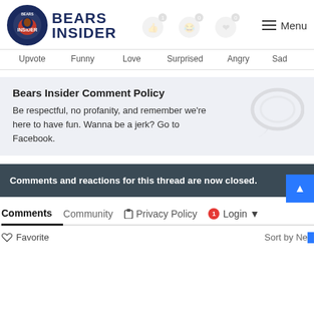Bears Insider — Menu
Upvote  Funny  Love  Surprised  Angry  Sad
Bears Insider Comment Policy
Be respectful, no profanity, and remember we're here to have fun. Wanna be a jerk? Go to Facebook.
Comments and reactions for this thread are now closed.
Comments  Community  Privacy Policy  Login
Favorite  Sort by Newest